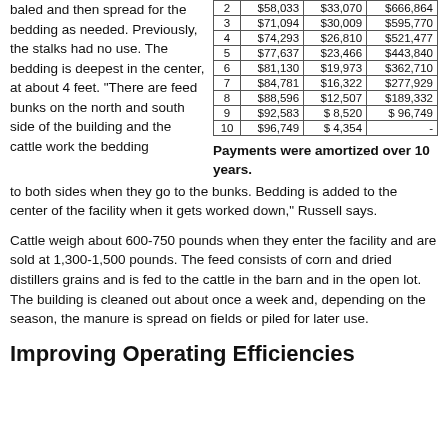baled and then spread for the bedding as needed. Previously, the stalks had no use. The bedding is deepest in the center, at about 4 feet. "There are feed bunks on the north and south side of the building and the cattle work the bedding to both sides when they go to the bunks. Bedding is added to the center of the facility when it gets worked down," Russell says.
| Year | Payment | Interest | Balance |
| --- | --- | --- | --- |
| 2 | $58,033 | $33,070 | $666,864 |
| 3 | $71,094 | $30,009 | $595,770 |
| 4 | $74,293 | $26,810 | $521,477 |
| 5 | $77,637 | $23,466 | $443,840 |
| 6 | $81,130 | $19,973 | $362,710 |
| 7 | $84,781 | $16,322 | $277,929 |
| 8 | $88,596 | $12,507 | $189,332 |
| 9 | $92,583 | $ 8,520 | $ 96,749 |
| 10 | $96,749 | $ 4,354 | - |
Payments were amortized over 10 years.
Cattle weigh about 600-750 pounds when they enter the facility and are sold at 1,300-1,500 pounds. The feed consists of corn and dried distillers grains and is fed to the cattle in the barn and in the open lot. The building is cleaned out about once a week and, depending on the season, the manure is spread on fields or piled for later use.
Improving Operating Efficiencies